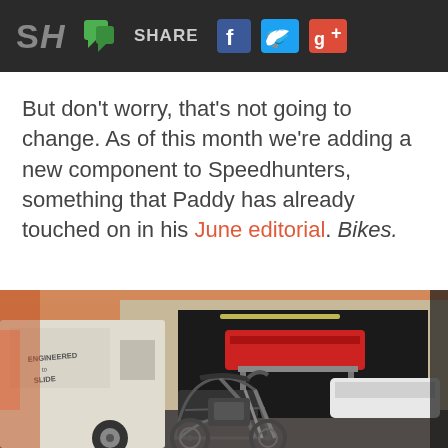SH | [chat icon] SHARE [facebook] [twitter] [google+]
But don't worry, that's not going to change. As of this month we're adding a new component to Speedhunters, something that Paddy has already touched on in his June editorial. Bikes.
[Figure (photo): A garage with a custom chopper motorcycle parked in front of two cars on a lift. A white van with 'Engineered to Slide' text is on the left. A red car is elevated on a car lift, and a white sports car is parked inside the garage.]